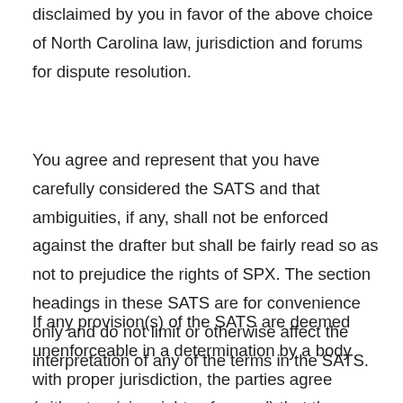disclaimed by you in favor of the above choice of North Carolina law, jurisdiction and forums for dispute resolution.
You agree and represent that you have carefully considered the SATS and that ambiguities, if any, shall not be enforced against the drafter but shall be fairly read so as not to prejudice the rights of SPX. The section headings in these SATS are for convenience only and do not limit or otherwise affect the interpretation of any of the terms in the SATS.
If any provision(s) of the SATS are deemed unenforceable in a determination by a body with proper jurisdiction, the parties agree (without waiving rights of appeal) that the